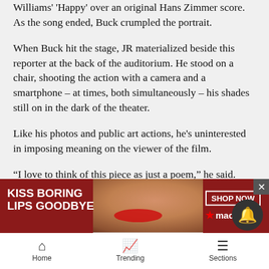Williams' 'Happy' over an original Hans Zimmer score. As the song ended, Buck crumpled the portrait.
When Buck hit the stage, JR materialized beside this reporter at the back of the auditorium. He stood on a chair, shooting the action with a camera and a smartphone – at times, both simultaneously – his shades still on in the dark of the theater.
Like his photos and public art actions, he's uninterested in imposing meaning on the viewer of the film.
“I love to think of this piece as just a poem,” he said. “Depending on where you are and who you are, you’re going to read it differently.”
The m... le, you...
[Figure (screenshot): Advertisement banner for Macy's with text 'KISS BORING LIPS GOODBYE' and 'SHOP NOW' button, featuring a woman's face with red lipstick.]
Home   Trending   Sections